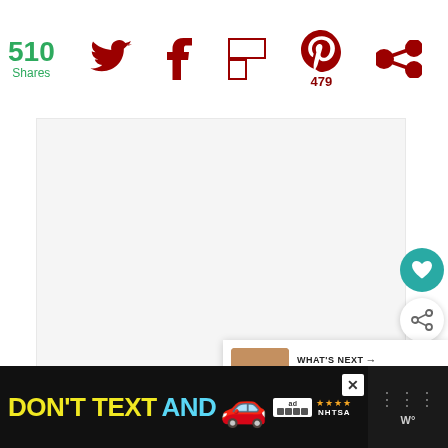510 Shares
[Figure (screenshot): Social share bar with Twitter, Facebook, Flipboard, Pinterest (479 shares), and circle-share icons on white background]
[Figure (photo): Large white/light grey content image area (recipe photo, mostly white/blank in this view)]
[Figure (infographic): Floating heart favorite button (teal circle) and share button (white circle with shadow)]
[Figure (infographic): What's Next panel showing thumbnail of Easy Stuffed Pork Rollups with arrow label]
WHAT'S NEXT → Easy Stuffed Pork Rollups
[Figure (screenshot): Advertisement banner: DON'T TEXT AND [car emoji] with ad badge, NHTSA stars rating, close button, and weather widget area on right]